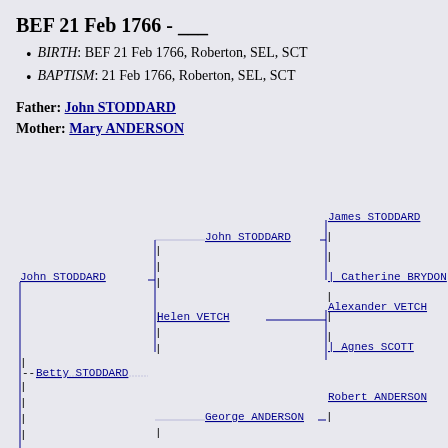BEF 21 Feb 1766 - ___
BIRTH: BEF 21 Feb 1766, Roberton, SEL, SCT
BAPTISM: 21 Feb 1766, Roberton, SEL, SCT
Father: John STODDARD
Mother: Mary ANDERSON
[Figure (organizational-chart): Genealogy ancestor tree showing John STODDARD and Betty STODDARD as children, with parents John STODDARD (father) whose parents are James STODDARD, Catherine BRYDON, Helen VETCH whose parents are Alexander VETCH, Agnes SCOTT; and George ANDERSON (mother side) whose parent is Robert ANDERSON]